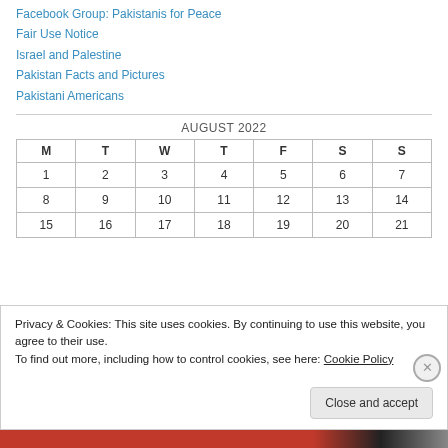Facebook Group: Pakistanis for Peace
Fair Use Notice
Israel and Palestine
Pakistan Facts and Pictures
Pakistani Americans
AUGUST 2022
| M | T | W | T | F | S | S |
| --- | --- | --- | --- | --- | --- | --- |
| 1 | 2 | 3 | 4 | 5 | 6 | 7 |
| 8 | 9 | 10 | 11 | 12 | 13 | 14 |
| 15 | 16 | 17 | 18 | 19 | 20 | 21 |
Privacy & Cookies: This site uses cookies. By continuing to use this website, you agree to their use.
To find out more, including how to control cookies, see here: Cookie Policy